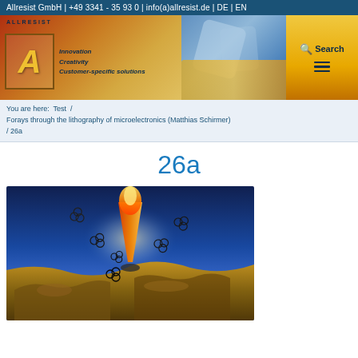Allresist GmbH | +49 3341 - 35 93 0 | info(a)allresist.de | DE | EN
[Figure (logo): Allresist GmbH company header banner with logo (stylized A), taglines 'Innovation Creativity Customer-specific solutions', decorative wafer/microscopy images, search icon and hamburger menu.]
You are here: Test / Forays through the lithography of microelectronics (Matthias Schirmer) / 26a
26a
[Figure (illustration): Scientific illustration showing a nano-tip or heated probe pointing downward toward a gold/metallic surface, with molecular structures (ring molecules) floating around the tip, against a blue and gold background. Depicts nanolithography or near-field lithography concept.]